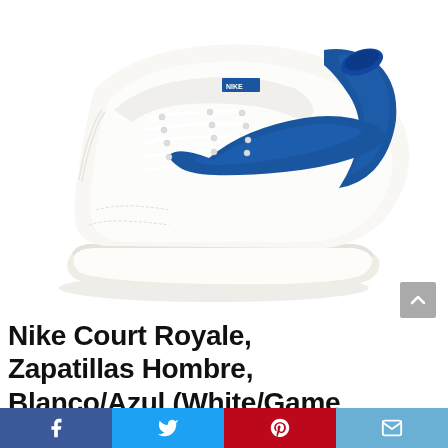[Figure (photo): White Nike Court Royale sneaker with blue swoosh logo and blue collar lining, shown in three-quarter view on white background]
Nike Court Royale, Zapatillas Hombre, Blanco/Azul (White/Game
[Figure (infographic): Social sharing bar with four buttons: Facebook (dark blue), Twitter (light blue), Pinterest (red), Email (light blue-gray)]